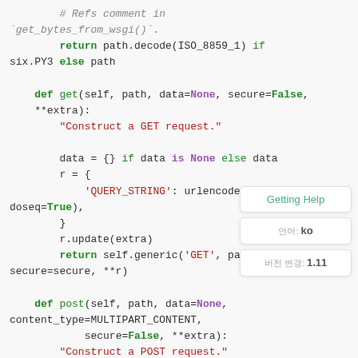# Refs comment in `get_bytes_from_wsgi()`. return path.decode(ISO_8859_1) if six.PY3 else path def get(self, path, data=None, secure=False, **extra): "Construct a GET request." data = {} if data is None else data r = { 'QUERY_STRING': urlencode(data, doseq=True), } r.update(extra) return self.generic('GET', pat secure=secure, **r) def post(self, path, data=None, content_type=MULTIPART_CONTENT, secure=False, **extra): "Construct a POST request."